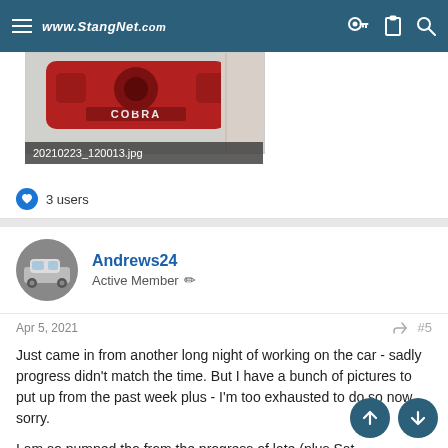www.StangNet.com
[Figure (photo): Red COBRA brake caliper photo with filename caption 20210223_120013.jpg]
3 users
Andrews24
Active Member
Apr 5, 2021
#5
Just came in from another long night of working on the car - sadly progress didn't match the time. But I have a bunch of pictures to put up from the past week plus - I'm too exhausted to do so now, sorry.
I am so pumped tho from the progress of late (plus Saturday I drove to the OH/WV/PA area for a rust free hatch, brand new Cobra wing and brand new Cobra bumper).